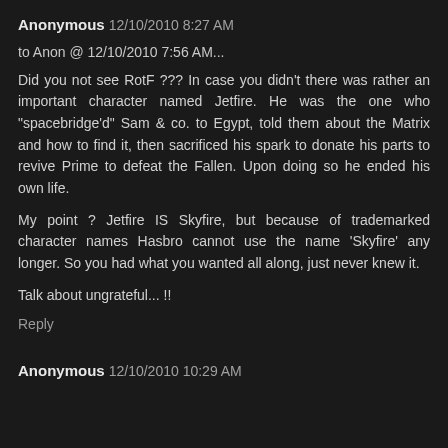Anonymous 12/10/2010 8:27 AM
to Anon @ 12/10/2010 7:56 AM...
Did you not see RotF ??? In case you didn't there was rather an important character named Jetfire. He was the one who "spacebridge'd" Sam & co. to Egypt, told them about the Matrix and how to find it, then sacrificed his spark to donate his parts to revive Prime to defeat the Fallen. Upon doing so he ended his own life.
My point ? Jetfire IS Skyfire, but because of trademarked character names Hasbro cannot use the name 'Skyfire' any longer. So you had what you wanted all along, just never knew it.
Talk about ungrateful... !!
Reply
Anonymous 12/10/2010 10:29 AM